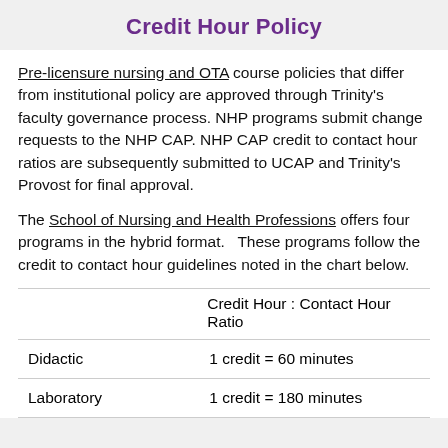Credit Hour Policy
Pre-licensure nursing and OTA course policies that differ from institutional policy are approved through Trinity's faculty governance process. NHP programs submit change requests to the NHP CAP. NHP CAP credit to contact hour ratios are subsequently submitted to UCAP and Trinity's Provost for final approval.
The School of Nursing and Health Professions offers four programs in the hybrid format.   These programs follow the credit to contact hour guidelines noted in the chart below.
|  | Credit Hour : Contact Hour Ratio |
| --- | --- |
| Didactic | 1 credit = 60 minutes |
| Laboratory | 1 credit = 180 minutes |